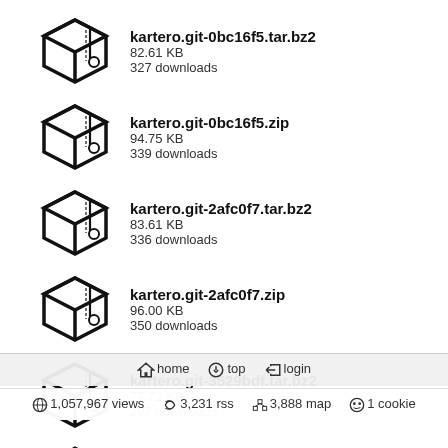kartero.git-0bc16f5.tar.bz2
82.61 KB
327 downloads
kartero.git-0bc16f5.zip
94.75 KB
339 downloads
kartero.git-2afc0f7.tar.bz2
83.61 KB
336 downloads
kartero.git-2afc0f7.zip
96.00 KB
350 downloads
kartero.git-3529bdf.tar.bz2
77.72 KB
297 downloads
kartero.git-3529bdf.zip
87.03 KB
319 downloads
home  top  login
1,057,967 views  3,231 rss  3,888 map  1 cookie